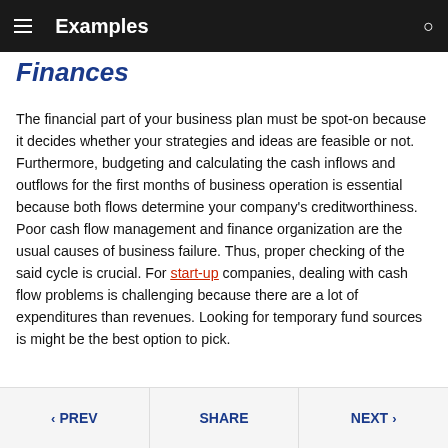Examples
Finances
The financial part of your business plan must be spot-on because it decides whether your strategies and ideas are feasible or not. Furthermore, budgeting and calculating the cash inflows and outflows for the first months of business operation is essential because both flows determine your company's creditworthiness. Poor cash flow management and finance organization are the usual causes of business failure. Thus, proper checking of the said cycle is crucial. For start-up companies, dealing with cash flow problems is challenging because there are a lot of expenditures than revenues. Looking for temporary fund sources is might be the best option to pick.
< PREV   SHARE   NEXT >